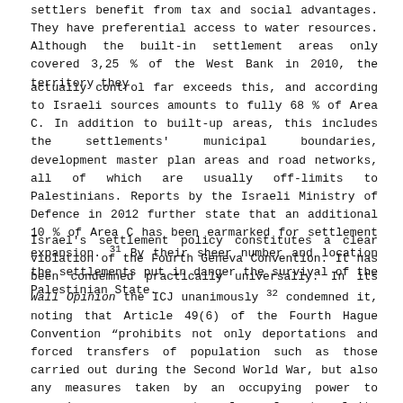settlers benefit from tax and social advantages. They have preferential access to water resources. Although the built-in settlement areas only covered 3,25 % of the West Bank in 2010, the territory they
actually control far exceeds this, and according to Israeli sources amounts to fully 68 % of Area C. In addition to built-up areas, this includes the settlements' municipal boundaries, development master plan areas and road networks, all of which are usually off-limits to Palestinians. Reports by the Israeli Ministry of Defence in 2012 further state that an additional 10 % of Area C has been earmarked for settlement expansion. 31 By their sheer number and location the settlements put in danger the survival of the Palestinian State.
Israel's settlement policy constitutes a clear violation of the Fourth Geneva Convention. It has been condemned practically universally. In its Wall Opinion the ICJ unanimously 32 condemned it, noting that Article 49(6) of the Fourth Hague Convention "prohibits not only deportations and forced transfers of population such as those carried out during the Second World War, but also any measures taken by an occupying power to organize or encourage transfers of parts of its own population into the occupied territory".